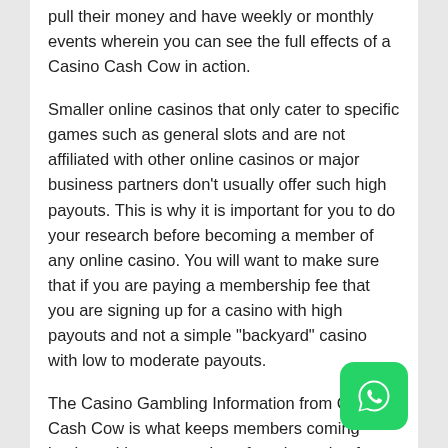pull their money and have weekly or monthly events wherein you can see the full effects of a Casino Cash Cow in action.
Smaller online casinos that only cater to specific games such as general slots and are not affiliated with other online casinos or major business partners don’t usually offer such high payouts. This is why it is important for you to do your research before becoming a member of any online casino. You will want to make sure that if you are paying a membership fee that you are signing up for a casino with high payouts and not a simple “backyard” casino with low to moderate payouts.
The Casino Gambling Information from Casino Cash Cow is what keeps members coming back, and keeps members from bouncing from one online casino to another. This is why so many online casinos have pulled their resources together in order to offer these large payout events on a regular basis. Working together they can pull in hundreds of thousands of dollars to award their members for simply playing on their sites.
[Figure (logo): WhatsApp logo button — green rounded square with white phone handset icon]